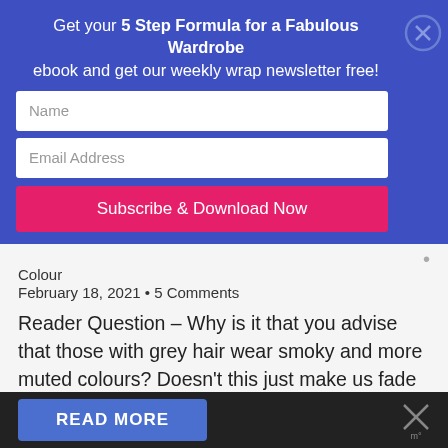Get your 5 Step Formula for a Fabulous Wardrobe ebook and get our weekly wrap newsletter free!
Name
Email Address
Subscribe & Download Now
Colour
February 18, 2021 • 5 Comments
Reader Question – Why is it that you advise that those with grey hair wear smoky and more muted colours? Doesn't this just make us fade away? Although our genetic makeup never changes, our hair changes both in colour and texture as we get older. In the same way, we lose the
READ MORE